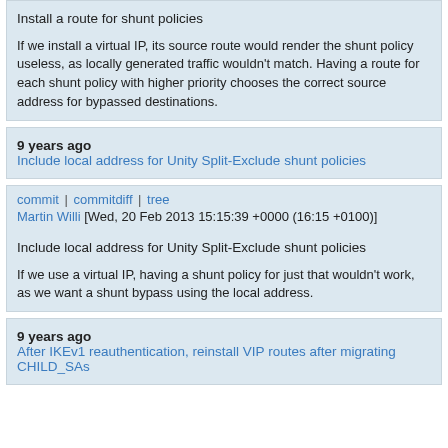Install a route for shunt policies

If we install a virtual IP, its source route would render the shunt policy useless, as locally generated traffic wouldn't match. Having a route for each shunt policy with higher priority chooses the correct source address for bypassed destinations.
9 years ago   Include local address for Unity Split-Exclude shunt policies
commit | commitdiff | tree
Martin Willi [Wed, 20 Feb 2013 15:15:39 +0000 (16:15 +0100)]
Include local address for Unity Split-Exclude shunt policies

If we use a virtual IP, having a shunt policy for just that wouldn't work, as we want a shunt bypass using the local address.
9 years ago   After IKEv1 reauthentication, reinstall VIP routes after migrating CHILD_SAs